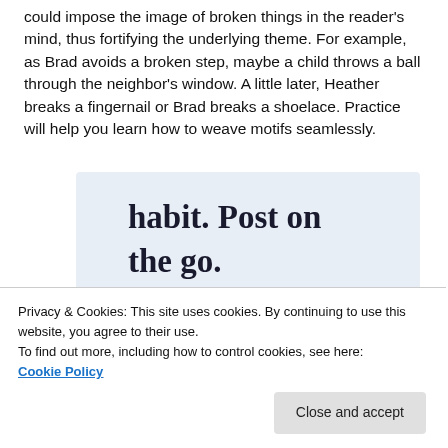could impose the image of broken things in the reader's mind, thus fortifying the underlying theme. For example, as Brad avoids a broken step, maybe a child throws a ball through the neighbor's window. A little later, Heather breaks a fingernail or Brad breaks a shoelace. Practice will help you learn how to weave motifs seamlessly.
[Figure (screenshot): WordPress app advertisement banner with text 'habit. Post on the go.' and a 'GET THE APP' link with WordPress logo icon.]
Privacy & Cookies: This site uses cookies. By continuing to use this website, you agree to their use.
To find out more, including how to control cookies, see here:
Cookie Policy